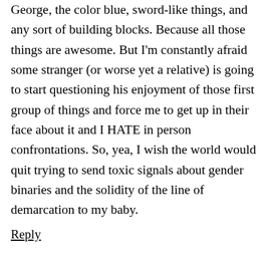George, the color blue, sword-like things, and any sort of building blocks. Because all those things are awesome. But I'm constantly afraid some stranger (or worse yet a relative) is going to start questioning his enjoyment of those first group of things and force me to get up in their face about it and I HATE in person confrontations. So, yea, I wish the world would quit trying to send toxic signals about gender binaries and the solidity of the line of demarcation to my baby.
Reply